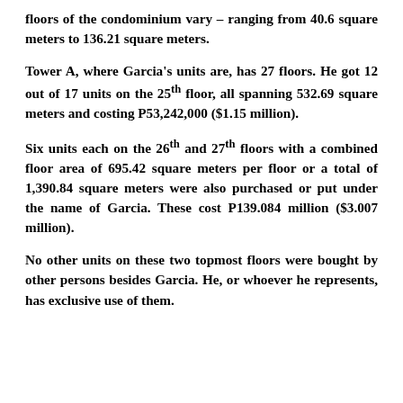floors of the condominium vary – ranging from 40.6 square meters to 136.21 square meters.
Tower A, where Garcia's units are, has 27 floors. He got 12 out of 17 units on the 25th floor, all spanning 532.69 square meters and costing P53,242,000 ($1.15 million).
Six units each on the 26th and 27th floors with a combined floor area of 695.42 square meters per floor or a total of 1,390.84 square meters were also purchased or put under the name of Garcia. These cost P139.084 million ($3.007 million).
No other units on these two topmost floors were bought by other persons besides Garcia. He, or whoever he represents, has exclusive use of them.